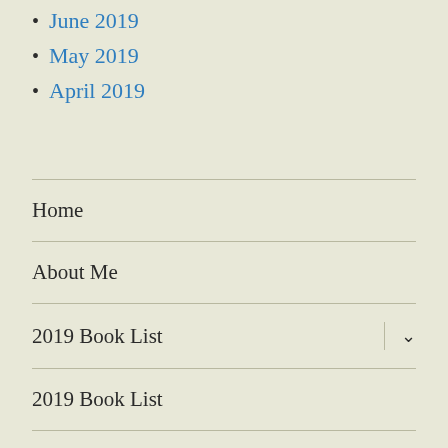June 2019
May 2019
April 2019
Home
About Me
2019 Book List
2019 Book List
2020 Book List
2021 Book List